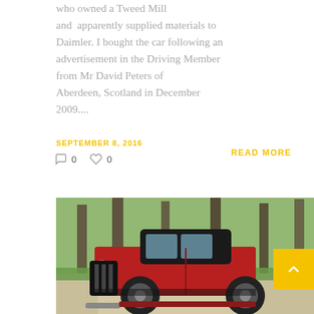who owned a Tweed Mill and apparently supplied materials to Daimler. I bought the car following an advertisement in the Driving Member from Mr David Peters of Aberdeen, Scotland in December 2009....
SEPTEMBER 8, 2016
READ MORE
0  0
[Figure (photo): Vintage red and black classic car (1930s style saloon/sedan) parked on a gravel path with trees in the background. A yellow back-to-top button appears in the bottom-right corner of the image.]